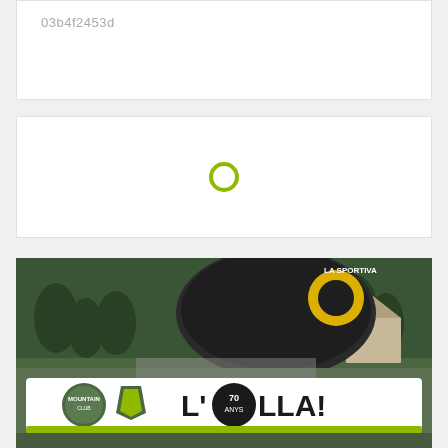03b4f2453d
[Figure (other): White card with a yellow-green circle/ring icon centered, indicating a loading or status indicator]
[Figure (photo): Outdoor photo showing people holding a banner reading 'L'OLLA! 70 ANYS' with La Sportiva branding visible in background, set in a mountainous landscape with trees and a stone building]